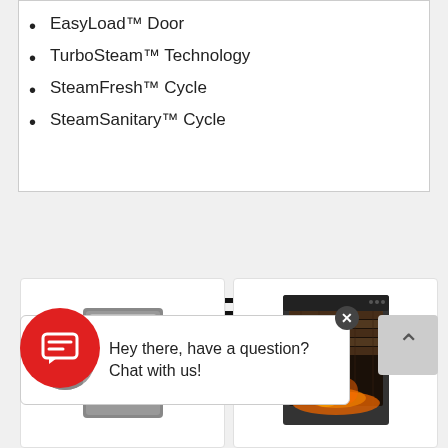EasyLoad™ Door
TurboSteam™ Technology
SteamFresh™ Cycle
SteamSanitary™ Cycle
CUSTOMERS ALSO VIEWED
[Figure (screenshot): Chat popup with agent avatar and message: Hey there, have a question? Chat with us!]
[Figure (photo): Washing machine / dryer appliance product photo]
[Figure (photo): Electric fireplace insert product photo]